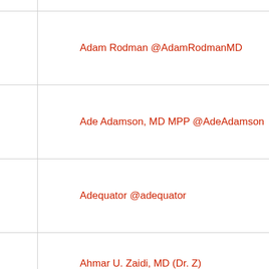Adam Rodman @AdamRodmanMD
Ade Adamson, MD MPP @AdeAdamson
Adequator @adequator
Ahmar U. Zaidi, MD (Dr. Z) @ahmaruroojzaidi
Ahmar U. Zaidi, MD (Dr. Z) @drzsicklecell